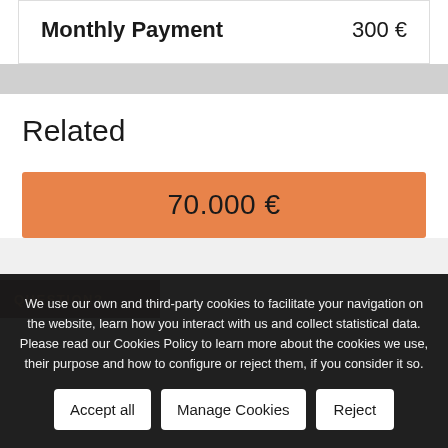|  |  |
| --- | --- |
| Monthly Payment | 300 € |
Related
70.000 €
We use our own and third-party cookies to facilitate your navigation on the website, learn how you interact with us and collect statistical data. Please read our Cookies Policy to learn more about the cookies we use, their purpose and how to configure or reject them, if you consider it so.
QUESTION?